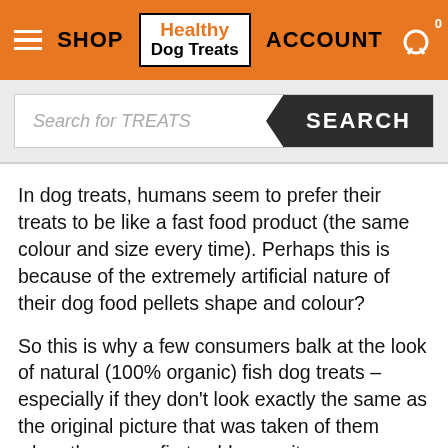SHOP | Healthy Dog Treats | ACCOUNT | Cart 0
[Figure (screenshot): Search bar with placeholder text 'Search for TREATS' and a dark SEARCH button]
In dog treats, humans seem to prefer their treats to be like a fast food product (the same colour and size every time). Perhaps this is because of the extremely artificial nature of their dog food pellets shape and colour?
So this is why a few consumers balk at the look of natural (100% organic) fish dog treats – especially if they don't look exactly the same as the original picture that was taken of them when they were first sold on a site.